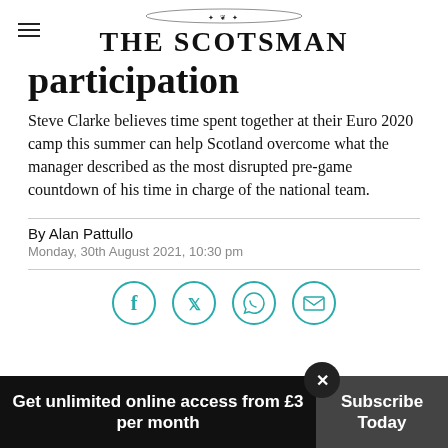THE SCOTSMAN
participation
Steve Clarke believes time spent together at their Euro 2020 camp this summer can help Scotland overcome what the manager described as the most disrupted pre-game countdown of his time in charge of the national team.
By Alan Pattullo
Monday, 30th August 2021, 10:30 pm
[Figure (infographic): Social sharing icons: Facebook, Twitter, WhatsApp, Email — teal circle outlines]
Get unlimited online access from £3 per month
Subscribe Today